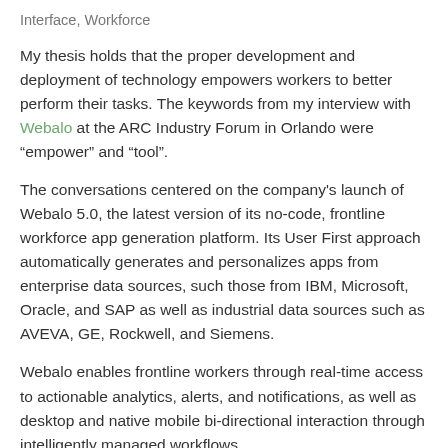Interface, Workforce
My thesis holds that the proper development and deployment of technology empowers workers to better perform their tasks. The keywords from my interview with Webalo at the ARC Industry Forum in Orlando were “empower” and “tool”.
The conversations centered on the company's launch of Webalo 5.0, the latest version of its no-code, frontline workforce app generation platform. Its User First approach automatically generates and personalizes apps from enterprise data sources, such those from IBM, Microsoft, Oracle, and SAP as well as industrial data sources such as AVEVA, GE, Rockwell, and Siemens.
Webalo enables frontline workers through real-time access to actionable analytics, alerts, and notifications, as well as desktop and native mobile bi-directional interaction through intelligently managed workflows.